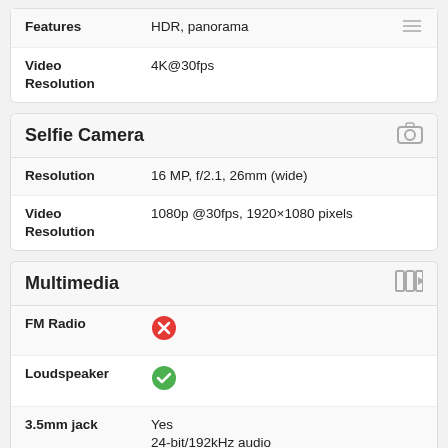| Feature | Value |
| --- | --- |
| Features | HDR, panorama |
| Video Resolution | 4K@30fps |
Selfie Camera
| Feature | Value |
| --- | --- |
| Resolution | 16 MP, f/2.1, 26mm (wide) |
| Video Resolution | 1080p @30fps, 1920×1080 pixels |
Multimedia
| Feature | Value |
| --- | --- |
| FM Radio | No |
| Loudspeaker | Yes |
| 3.5mm jack | Yes
24-bit/192kHz audio |
Connectivity